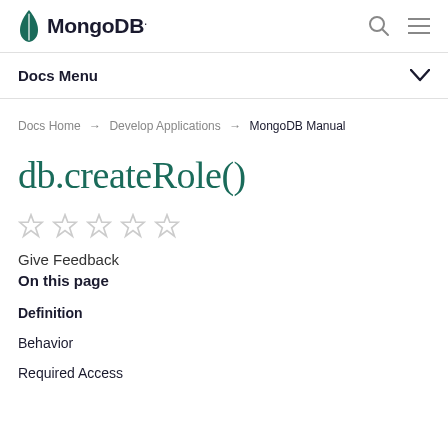MongoDB
Docs Menu
Docs Home → Develop Applications → MongoDB Manual
db.createRole()
Give Feedback
On this page
Definition
Behavior
Required Access